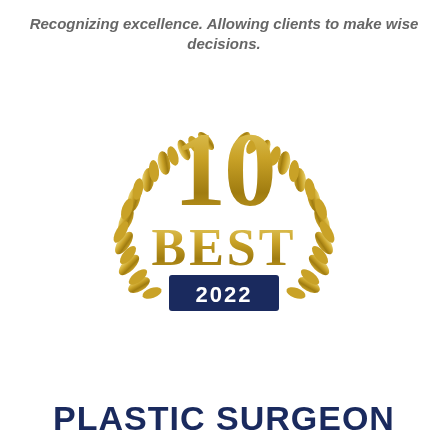Recognizing excellence. Allowing clients to make wise decisions.
[Figure (logo): 10 Best 2022 award badge with gold laurel wreath, large '10' numeral, 'BEST' text, and navy blue '2022' banner in the center]
PLASTIC SURGEON